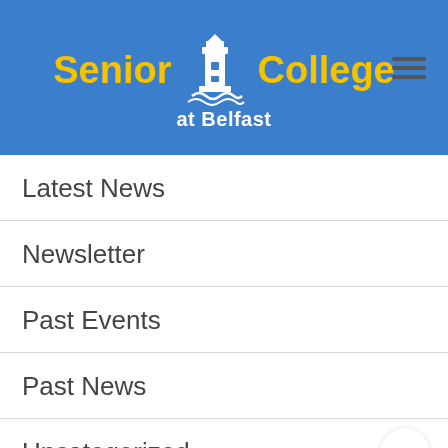[Figure (logo): Senior College at Belfast logo with lighthouse icon on blue background, yellow text for 'Senior College' and white text for 'at Belfast']
Latest News
Newsletter
Past Events
Past News
Uncategorized
Videos